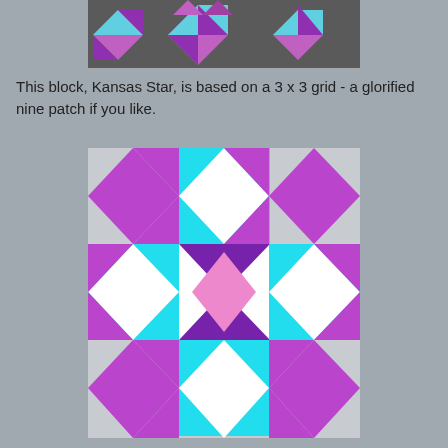[Figure (illustration): Top portion of a quilt pattern image showing colorful geometric quilt blocks on a dark gray background, partially cropped at top of page.]
This block, Kansas Star, is based on a 3 x 3 grid - a glorified nine patch if you like.
[Figure (illustration): Kansas Star quilt block pattern based on a 3x3 grid. The pattern features diamond/square shapes rotated 45 degrees in purple (medium and dark), cyan/turquoise, white, and pink colors arranged in a nine-patch star formation on a light gray background.]